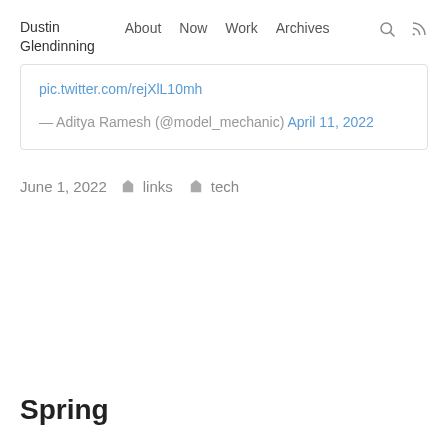Dustin Glendinning   About   Now   Work   Archives
pic.twitter.com/rejXlL10mh
— Aditya Ramesh (@model_mechanic) April 11, 2022
June 1, 2022   links   tech
Spring